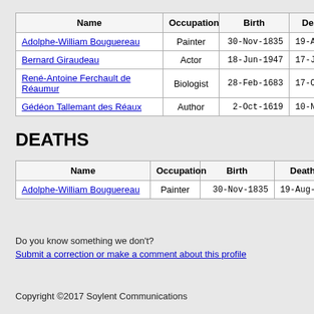| Name | Occupation | Birth | Death |
| --- | --- | --- | --- |
| Adolphe-William Bouguereau | Painter | 30-Nov-1835 | 19-Aug-... |
| Bernard Giraudeau | Actor | 18-Jun-1947 | 17-Jul-... |
| René-Antoine Ferchault de Réaumur | Biologist | 28-Feb-1683 | 17-Oct-... |
| Gédéon Tallemant des Réaux | Author | 2-Oct-1619 | 10-Nov-... |
DEATHS
| Name | Occupation | Birth | Death |
| --- | --- | --- | --- |
| Adolphe-William Bouguereau | Painter | 30-Nov-1835 | 19-Aug-190... |
Do you know something we don't?
Submit a correction or make a comment about this profile
Copyright ©2017 Soylent Communications